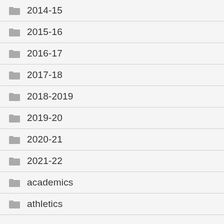2014-15
2015-16
2016-17
2017-18
2018-2019
2019-20
2020-21
2021-22
academics
athletics